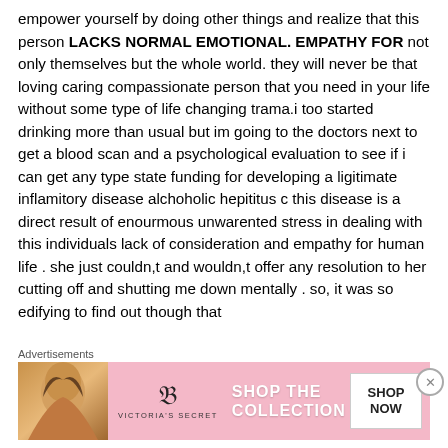empower yourself by doing other things and realize that this person LACKS NORMAL EMOTIONAL. EMPATHY FOR not only themselves but the whole world. they will never be that loving caring compassionate person that you need in your life without some type of life changing trama.i too started drinking more than usual but im going to the doctors next to get a blood scan and a psychological evaluation to see if i can get any type state funding for developing a ligitimate inflamitory disease alchoholic hepititus c this disease is a direct result of enourmous unwarented stress in dealing with this individuals lack of consideration and empathy for human life . she just couldn,t and wouldn,t offer any resolution to her cutting off and shutting me down mentally . so, it was so edifying to find out though that
Advertisements
[Figure (photo): Victoria's Secret advertisement banner with a woman and pink background, showing 'SHOP THE COLLECTION' and 'SHOP NOW' button]